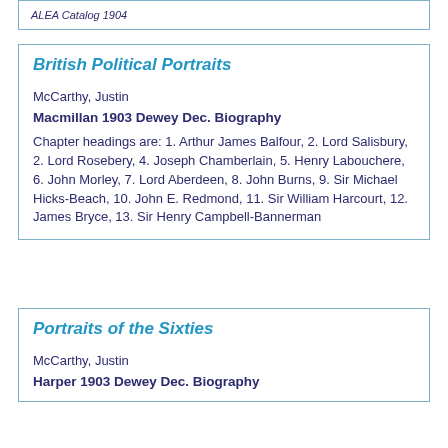ALEA Catalog 1904
British Political Portraits
McCarthy, Justin
Macmillan 1903 Dewey Dec. Biography
Chapter headings are: 1. Arthur James Balfour, 2. Lord Salisbury, 2. Lord Rosebery, 4. Joseph Chamberlain, 5. Henry Labouchere, 6. John Morley, 7. Lord Aberdeen, 8. John Burns, 9. Sir Michael Hicks-Beach, 10. John E. Redmond, 11. Sir William Harcourt, 12. James Bryce, 13. Sir Henry Campbell-Bannerman
Portraits of the Sixties
McCarthy, Justin
Harper 1903 Dewey Dec. Biography